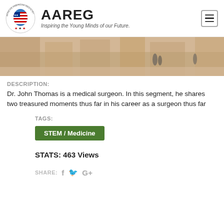[Figure (logo): African American Registry (AAREG) logo with Africa continent icon and tagline 'Inspiring the Young Minds of our Future.']
[Figure (photo): Blurred outdoor urban scene with people walking, warm brown tones]
DESCRIPTION:
Dr. John Thomas is a medical surgeon. In this segment, he shares two treasured moments thus far in his career as a surgeon thus far
TAGS:
STEM / Medicine
STATS: 463 Views
SHARE: